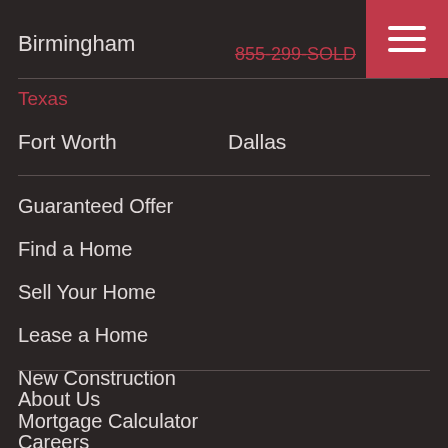Birmingham
855-299-SOLD
Texas
Fort Worth
Dallas
Guaranteed Offer
Find a Home
Sell Your Home
Lease a Home
New Construction
Mortgage Calculator
About Us
Careers